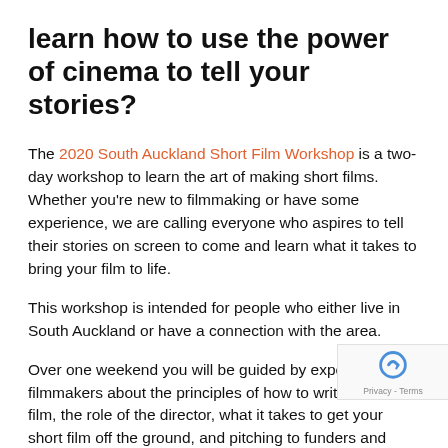learn how to use the power of cinema to tell your stories?
The 2020 South Auckland Short Film Workshop is a two-day workshop to learn the art of making short films. Whether you're new to filmmaking or have some experience, we are calling everyone who aspires to tell their stories on screen to come and learn what it takes to bring your film to life.
This workshop is intended for people who either live in South Auckland or have a connection with the area.
Over one weekend you will be guided by experienced filmmakers about the principles of how to write a short film, the role of the director, what it takes to get your short film off the ground, and pitching to funders and collabor... Speakers include Marina McCartney (Milk & Honey, Va... Karehana (Ahikāroa, My Brother Mitchell) and Nikki Si... (Same But Different, My Generation Roadtrip)